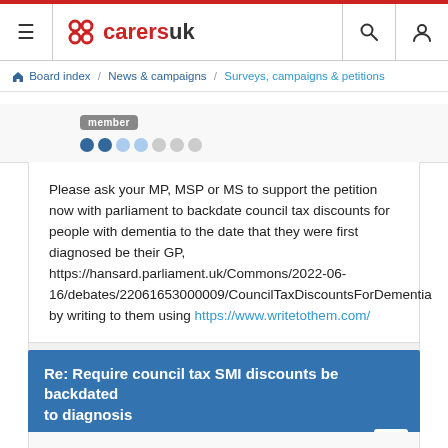Carers UK - Board index / News & campaigns / Surveys, campaigns & petitions
member (badge), dots
Please ask your MP, MSP or MS to support the petition now with parliament to backdate council tax discounts for people with dementia to the date that they were first diagnosed be their GP, https://hansard.parliament.uk/Commons/2022-06-16/debates/22061653000009/CouncilTaxDiscountsForDementia by writing to them using https://www.writetothem.com/
Re: Require council tax SMI discounts be backdated to diagnosis